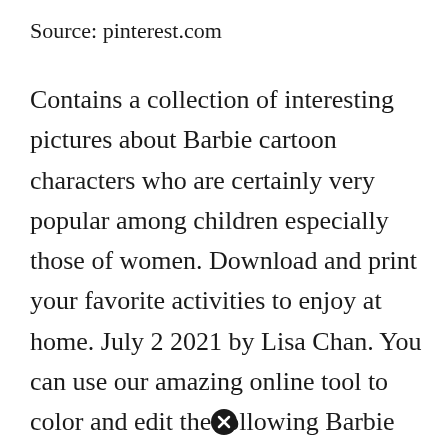Source: pinterest.com
Contains a collection of interesting pictures about Barbie cartoon characters who are certainly very popular among children especially those of women. Download and print your favorite activities to enjoy at home. July 2 2021 by Lisa Chan. You can use our amazing online tool to color and edit the following Barbie Fairy Coloring Pages. Pin By Tania Lisbeth On Mascaras Barbie Coloring Pages Barbie Coloring Coloring